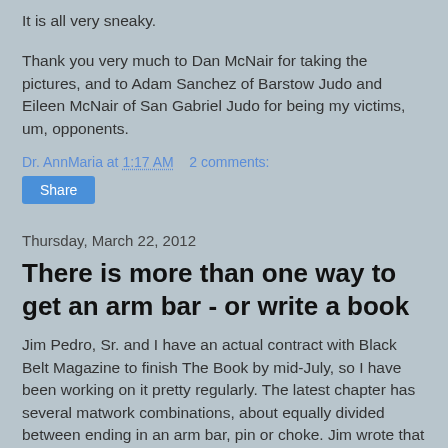It is all very sneaky.
Thank you very much to Dan McNair for taking the pictures, and to Adam Sanchez of Barstow Judo and Eileen McNair of San Gabriel Judo for being my victims, um, opponents.
Dr. AnnMaria at 1:17 AM   2 comments:
Share
Thursday, March 22, 2012
There is more than one way to get an arm bar - or write a book
Jim Pedro, Sr. and I have an actual contract with Black Belt Magazine to finish The Book by mid-July, so I have been working on it pretty regularly. The latest chapter has several matwork combinations, about equally divided between ending in an arm bar, pin or choke. Jim wrote that chapter so